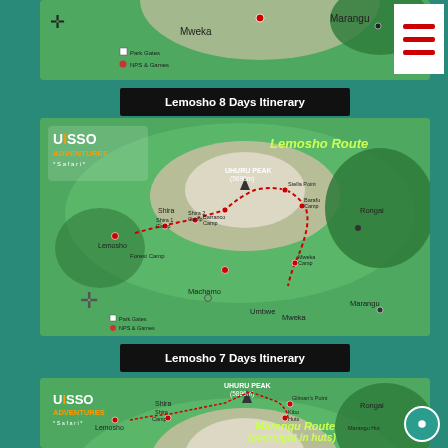[Figure (map): Partial Kilimanjaro route map showing Mweka and Marangu labels at top, clipped at top of page]
Lemosho 8 Days Itinerary
[Figure (map): Kilimanjaro Lemosho Route map showing Lemosho, Shira, Forest Camp, Shira 1 Camp, Shira 2 Camp, Barranco Camp, Barafu Camp, Stella Point, Uhuru Peak (5896m), Mweka Camp, Rongai, Machamo, Umbwe, Mweka, Marangu. Red dotted route line. Compass rose bottom left. Park Gates and NFS & Games legend.]
Lemosho 7 Days Itinerary
[Figure (map): Kilimanjaro Marangu Route map (overnight in huts) showing Lemosho, Shira, Shira Camp, Uhuru Peak (5896m), Gilman's Point, Kibo Huts, Rongai, Marangu Hut. Partial view clipped at bottom.]